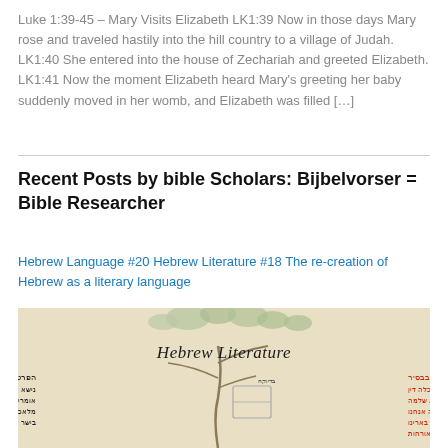Luke 1:39-45 – Mary Visits Elizabeth LK1:39 Now in those days Mary rose and traveled hastily into the hill country to a village of Judah. LK1:40 She entered into the house of Zechariah and greeted Elizabeth. LK1:41 Now the moment Elizabeth heard Mary's greeting her baby suddenly moved in her womb, and Elizabeth was filled […]
Recent Posts by bible Scholars: Bijbelvorser = Bible Researcher
Hebrew Language #20 Hebrew Literature #18 The re-creation of Hebrew as a literary language
[Figure (illustration): An illustration of a Hebrew Literature manuscript page with decorative tree branches at top, cursive 'Hebrew Literature' text in the center-top area, and Hebrew script text in black and red columns below.]